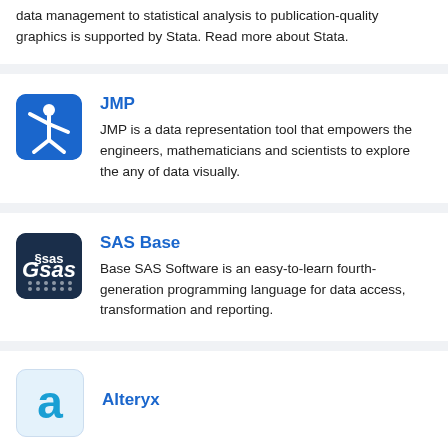data management to statistical analysis to publication-quality graphics is supported by Stata. Read more about Stata.
[Figure (logo): JMP logo - white figure on blue background]
JMP
JMP is a data representation tool that empowers the engineers, mathematicians and scientists to explore the any of data visually.
[Figure (logo): SAS logo - white text 'sas' on dark navy background]
SAS Base
Base SAS Software is an easy-to-learn fourth-generation programming language for data access, transformation and reporting.
[Figure (logo): Alteryx logo - stylized 'a' on light blue background]
Alteryx